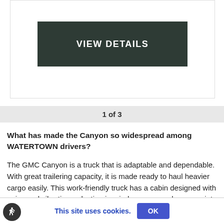[Figure (other): Dark button labeled VIEW DETAILS]
1 of 3
What has made the Canyon so widespread among WATERTOWN drivers?
The GMC Canyon is a truck that is adaptable and dependable. With great trailering capacity, it is made ready to haul heavier cargo easily. This work-friendly truck has a cabin designed with noise and vibration reduction in mind, so you can have a quiet and comfortable ride even on rougher roads. Technology buffs will enjoy an available onboard 4G Wi-Fi hotspot and the functionality to connect up to 7 devices to access music and apps on the go. Shop our inventory of new GMC Canyons in WATERTOWN to
This site uses cookies. OK